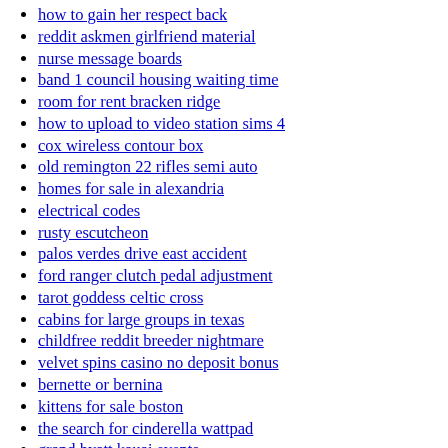how to gain her respect back
reddit askmen girlfriend material
nurse message boards
band 1 council housing waiting time
room for rent bracken ridge
how to upload to video station sims 4
cox wireless contour box
old remington 22 rifles semi auto
homes for sale in alexandria
electrical codes
rusty escutcheon
palos verdes drive east accident
ford ranger clutch pedal adjustment
tarot goddess celtic cross
cabins for large groups in texas
childfree reddit breeder nightmare
velvet spins casino no deposit bonus
bernette or bernina
kittens for sale boston
the search for cinderella wattpad
grand hyatt kauai events
maine motorcycle crash
intj stress triggers
i sinned against god
dancing feet charm